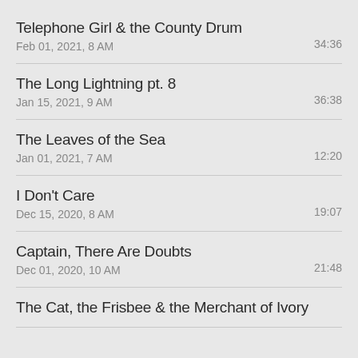Telephone Girl & the County Drum
Feb 01, 2021, 8 AM
34:36
The Long Lightning pt. 8
Jan 15, 2021, 9 AM
36:38
The Leaves of the Sea
Jan 01, 2021, 7 AM
12:20
I Don't Care
Dec 15, 2020, 8 AM
19:07
Captain, There Are Doubts
Dec 01, 2020, 10 AM
21:48
The Cat, the Frisbee & the Merchant of Ivory